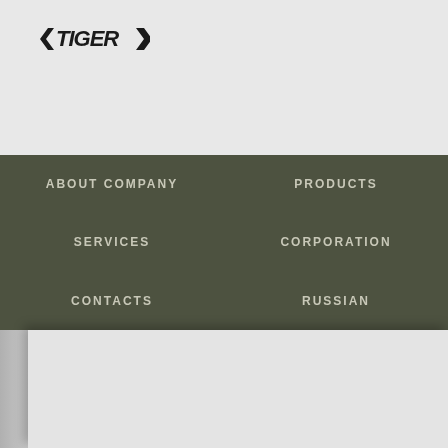[Figure (logo): Company logo with stylized text/emblem in dark color on light background]
ABOUT COMPANY
PRODUCTS
SERVICES
CORPORATION
CONTACTS
RUSSIAN